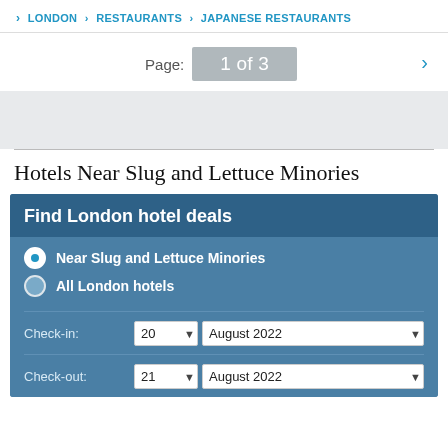LONDON > RESTAURANTS > JAPANESE RESTAURANTS
Page: 1 of 3
Hotels Near Slug and Lettuce Minories
Find London hotel deals
Near Slug and Lettuce Minories
All London hotels
Check-in: 20 ▼ August 2022 ▼
Check-out: 21 ▼ August 2022 ▼